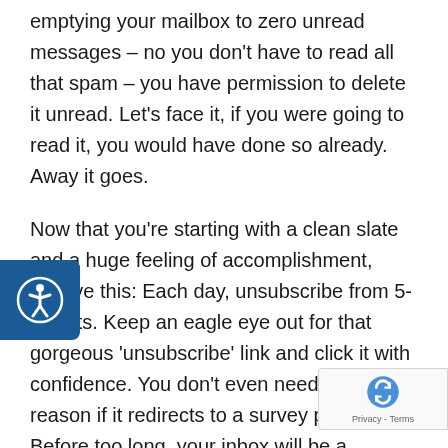emptying your mailbox to zero unread messages – no you don't have to read all that spam – you have permission to delete it unread. Let's face it, if you were going to read it, you would have done so already. Away it goes.
Now that you're starting with a clean slate and a huge feeling of accomplishment, resolve this: Each day, unsubscribe from 5-10 lists. Keep an eagle eye out for that gorgeous 'unsubscribe' link and click it with confidence. You don't even need to give a reason if it redirects to a survey page. Before too long, your inbox will be a refreshing place filled only with people and businesses
[Figure (other): Accessibility (circular person icon) button on the left side of the page, dark blue background]
[Figure (other): reCAPTCHA badge in the bottom right corner showing the reCAPTCHA logo and Privacy - Terms text]